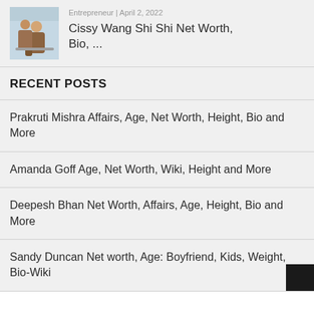[Figure (photo): Photo of a man and woman couple sitting, woman in brown jacket, man in brown coat]
Entrepreneur | April 2, 2022
Cissy Wang Shi Shi Net Worth, Bio, ...
RECENT POSTS
Prakruti Mishra Affairs, Age, Net Worth, Height, Bio and More
Amanda Goff Age, Net Worth, Wiki, Height and More
Deepesh Bhan Net Worth, Affairs, Age, Height, Bio and More
Sandy Duncan Net worth, Age: Boyfriend, Kids, Weight, Bio-Wiki